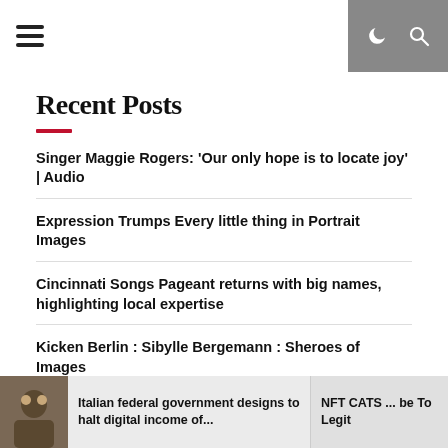Navigation bar with hamburger menu, dark mode icon, and search icon
Recent Posts
Singer Maggie Rogers: ‘Our only hope is to locate joy’ | Audio
Expression Trumps Every little thing in Portrait Images
Cincinnati Songs Pageant returns with big names, highlighting local expertise
Kicken Berlin : Sibylle Bergemann : Sheroes of Images
‘Jaws’ cast: Where are the shark hunters now?
Italian federal government designs to halt digital income of...
NFT CATS ... be To Legit